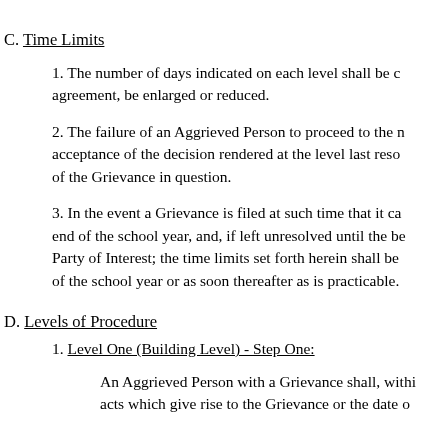C. Time Limits
1. The number of days indicated on each level shall be c… agreement, be enlarged or reduced.
2. The failure of an Aggrieved Person to proceed to the n… acceptance of the decision rendered at the level last reso… of the Grievance in question.
3. In the event a Grievance is filed at such time that it ca… end of the school year, and, if left unresolved until the be… Party of Interest; the time limits set forth herein shall be… of the school year or as soon thereafter as is practicable.
D. Levels of Procedure
1. Level One (Building Level) - Step One:
An Aggrieved Person with a Grievance shall, withi… acts which give rise to the Grievance or the date o…